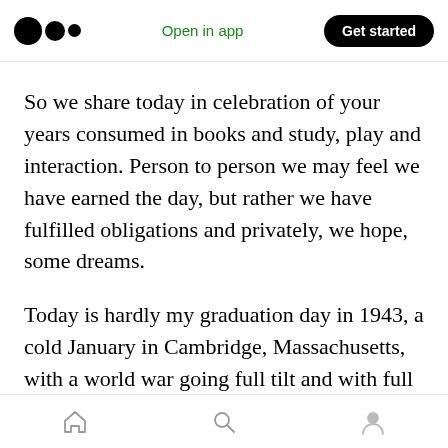Open in app | Get started
So we share today in celebration of your years consumed in books and study, play and interaction. Person to person we may feel we have earned the day, but rather we have fulfilled obligations and privately, we hope, some dreams.
Today is hardly my graduation day in 1943, a cold January in Cambridge, Massachusetts, with a world war going full tilt and with full recognition that as we graduated from college and speeded up our studies by going to school all year we hastened our time for military service. Fortunate
Home | Search | Profile